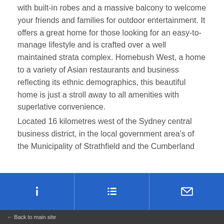with built-in robes and a massive balcony to welcome your friends and families for outdoor entertainment. It offers a great home for those looking for an easy-to-manage lifestyle and is crafted over a well maintained strata complex. Homebush West, a home to a variety of Asian restaurants and business reflecting its ethnic demographics, this beautiful home is just a stroll away to all amenities with superlative convenience. Located 16 kilometres west of the Sydney central business district, in the local government area's of the Municipality of Strathfield and the Cumberland
← Back to main site